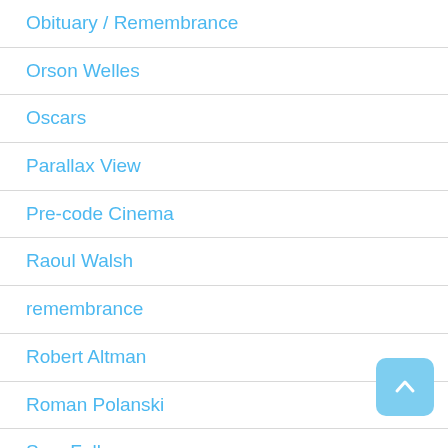Obituary / Remembrance
Orson Welles
Oscars
Parallax View
Pre-code Cinema
Raoul Walsh
remembrance
Robert Altman
Roman Polanski
Sam Fuller